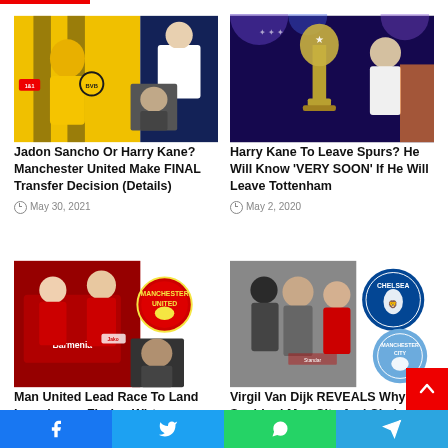[Figure (photo): Collage of Jadon Sancho in Dortmund yellow kit, Haaland taking selfie, a player headshot, and Harry Kane in Spurs AIA kit]
Jadon Sancho Or Harry Kane? Manchester United Make FINAL Transfer Decision (Details)
May 30, 2021
[Figure (photo): Harry Kane walking past Champions League trophy, wearing white Tottenham kit]
Harry Kane To Leave Spurs? He Will Know 'VERY SOON' If He Will Leave Tottenham
May 2, 2020
[Figure (photo): Bayer Leverkusen players in red/black Barmenia kit, with Manchester United badge overlay and a manager headshot]
Man United Lead Race To Land Leverkusen Florian Wirtz
[Figure (photo): Jurgen Klopp with Liverpool players, Chelsea and Manchester City badge overlays]
Virgil Van Dijk REVEALS Why He Snubbed Man City And Chelsea